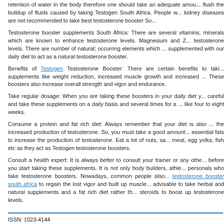retention of water in the body therefore one should take an adequate amount to flush the buildup of fluids caused by taking Testogen South Africa. People with kidney diseases are not recommended to take best testosterone booster So...
Testosterone booster supplements South Africa: There are several vitamins, minerals which are known to enhance testosterone levels. Magnesium and Z... testosterone levels. There are number of natural; occurring elements which ... supplemented with our daily diet to act as a natural testosterone booster.
Benefits of Testogen Testosterone Booster: There are certain benefits to taking supplements like weight reduction, increased muscle growth and increased ... These boosters also increase overall strength and vigor and endurance.
Take regular dosage: When you are taking these boosters in your daily diet you are careful and take these supplements on a daily basis and several times for a ... like four to eight weeks.
Consume a protein and fat rich diet: Always remember that your diet is also ... the increased production of testosterone. So, you must take a good amount of essential fats to increase the production of testosterone. Eat a lot of nuts, sa... meat, egg yolks, fish etc as they act as Testogen testosterone boosters.
Consult a health expert: It is always better to consult your trainer or any other before you start taking these supplements. It is not only body builders, athl... personals who take testosterone boosters. Nowadays, common people also testosterone booster south africa to regain the lost vigor and built up muscle... advisable to take herbal and natural supplements and a fat rich diet rather th... steroids to boost up testosterone levels.
ISSN: 1023-4144